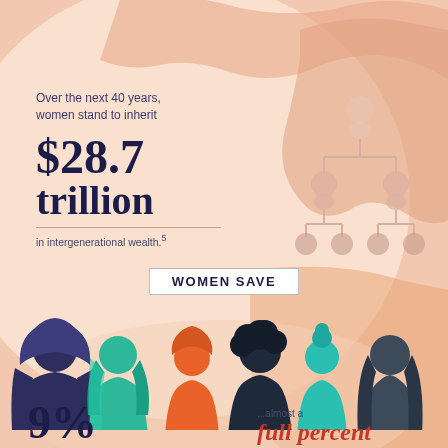[Figure (infographic): World map silhouette background in warm peach/salmon tones covering the top and right portions of the page]
Over the next 40 years, women stand to inherit
$28.7 trillion
in intergenerational wealth.5
[Figure (illustration): Family tree diagram with three generations of person silhouette icons in muted peach tones, connected by lines]
WOMEN SAVE
[Figure (illustration): Six diverse women silhouette/illustration icons in various colors: dark navy (hijab), teal, mint green, orange, dark navy, teal bun, dark slate]
9%
...almost a full percent